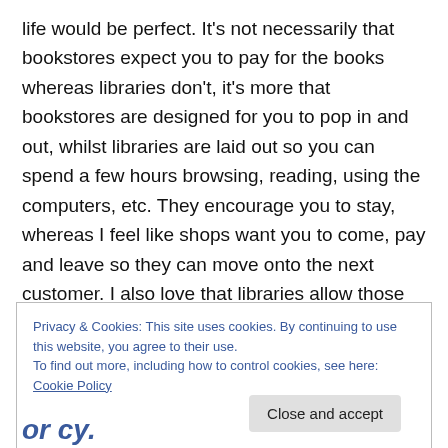life would be perfect. It's not necessarily that bookstores expect you to pay for the books whereas libraries don't, it's more that bookstores are designed for you to pop in and out, whilst libraries are laid out so you can spend a few hours browsing, reading, using the computers, etc. They encourage you to stay, whereas I feel like shops want you to come, pay and leave so they can move onto the next customer. I also love that libraries allow those who can't necessarily afford to buy lots of books to still enjoy reading, and if we all request the newest releases then our favourite authors are still getting paid. Win, win!
Privacy & Cookies: This site uses cookies. By continuing to use this website, you agree to their use. To find out more, including how to control cookies, see here: Cookie Policy
or cy.